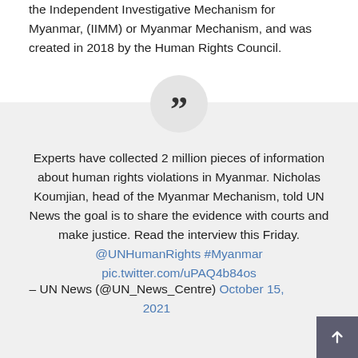the Independent Investigative Mechanism for Myanmar, (IIMM) or Myanmar Mechanism, and was created in 2018 by the Human Rights Council.
[Figure (infographic): Pull quote section with large quotation mark in a circle, followed by a quoted tweet from UN News about experts collecting 2 million pieces of information about human rights violations in Myanmar, attributed to @UN_News_Centre on October 15, 2021.]